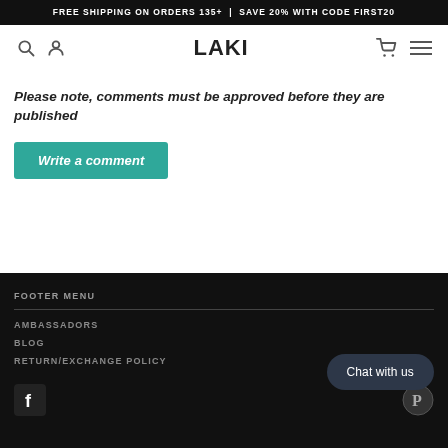FREE SHIPPING ON ORDERS 135+ | SAVE 20% WITH CODE FIRST20
[Figure (logo): LAKI brand logo with search, user, cart, and menu icons in navigation bar]
Please note, comments must be approved before they are published
Write a comment
FOOTER MENU
AMBASSADORS
BLOG
REATURN/EXCHANGE POLICY
Chat with us